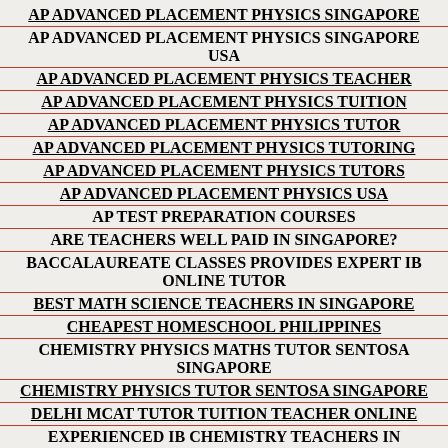AP ADVANCED PLACEMENT PHYSICS SINGAPORE
AP ADVANCED PLACEMENT PHYSICS SINGAPORE USA
AP ADVANCED PLACEMENT PHYSICS TEACHER
AP ADVANCED PLACEMENT PHYSICS TUITION
AP ADVANCED PLACEMENT PHYSICS TUTOR
AP ADVANCED PLACEMENT PHYSICS TUTORING
AP ADVANCED PLACEMENT PHYSICS TUTORS
AP ADVANCED PLACEMENT PHYSICS USA
AP TEST PREPARATION COURSES
ARE TEACHERS WELL PAID IN SINGAPORE?
BACCALAUREATE CLASSES PROVIDES EXPERT IB ONLINE TUTOR
BEST MATH SCIENCE TEACHERS IN SINGAPORE
CHEAPEST HOMESCHOOL PHILIPPINES
CHEMISTRY PHYSICS MATHS TUTOR SENTOSA SINGAPORE
CHEMISTRY PHYSICS TUTOR SENTOSA SINGAPORE
DELHI MCAT TUTOR TUITION TEACHER ONLINE
EXPERIENCED IB CHEMISTRY TEACHERS IN